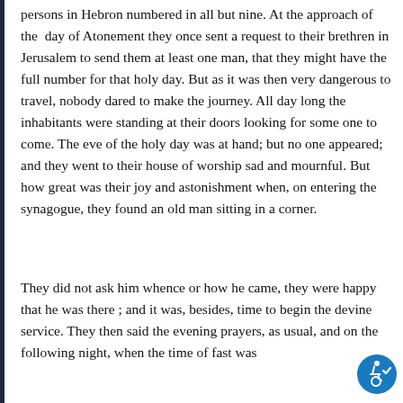persons in Hebron numbered in all but nine. At the approach of the day of Atonement they once sent a request to their brethren in Jerusalem to send them at least one man, that they might have the full number for that holy day. But as it was then very dangerous to travel, nobody dared to make the journey. All day long the inhabitants were standing at their doors looking for some one to come. The eve of the holy day was at hand; but no one appeared; and they went to their house of worship sad and mournful. But how great was their joy and astonishment when, on entering the synagogue, they found an old man sitting in a corner.
They did not ask him whence or how he came, they were happy that he was there ; and it was, besides, time to begin the devine service. They then said the evening prayers, as usual, and on the following night, when the time of fast was